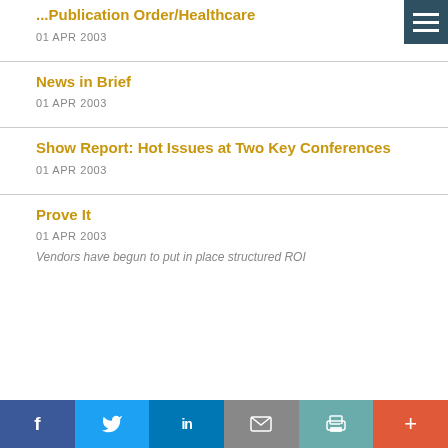...Publication Order/Healthcare
01 APR 2003
News in Brief
01 APR 2003
Show Report: Hot Issues at Two Key Conferences
01 APR 2003
Prove It
01 APR 2003
Vendors have begun to put in place structured ROI